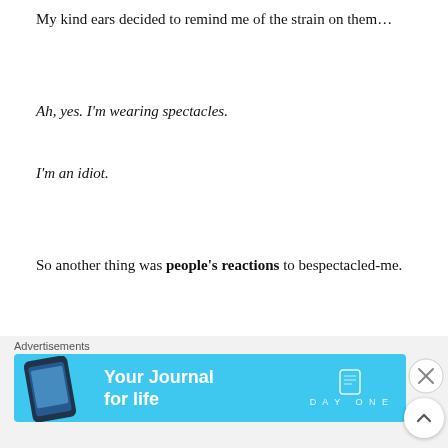My kind ears decided to remind me of the strain on them…
Ah, yes. I'm wearing spectacles.
I'm an idiot.
So another thing was people's reactions to bespectacled-me.
I was kind of expecting:
[Figure (other): Advertisement banner for 'Day One: Your Journal for life' app, with a blue background, phone illustration, and app logo.]
Advertisements